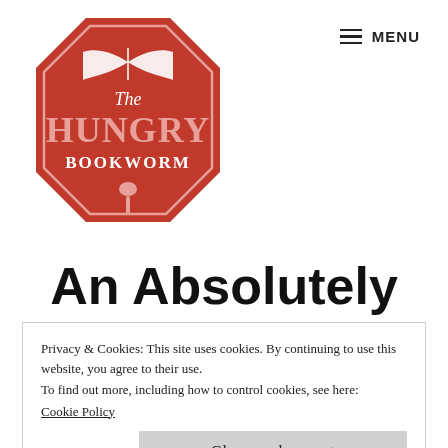[Figure (logo): The Hungry Bookworm logo — a red octagonal badge with white text reading 'The HUNGRY BOOKWORM' and an open book above and a wooden spoon below]
MENU
An Absolutely
Privacy & Cookies: This site uses cookies. By continuing to use this website, you agree to their use.
To find out more, including how to control cookies, see here:
Cookie Policy
Close and accept